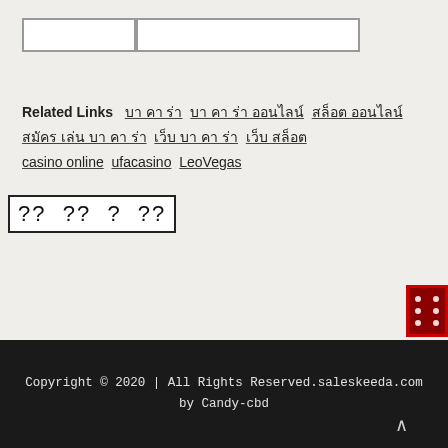[Figure (other): Search bar with two input boxes side by side]
Related Links  บา คา ร่า  บา คา ร่า ออนไลน์  สล็อต ออนไลน์  สมัคร เล่น บา คา ร่า  เว็บ บา คา ร่า  เว็บ สล็อต  casino online  ufacasino  LeoVegas
?? ?? ? ??
[Figure (photo): Dice image with red border in bottom right corner]
Copyright © 2020 | All Rights Reserved.saleskeeda.com by Candy-cbd